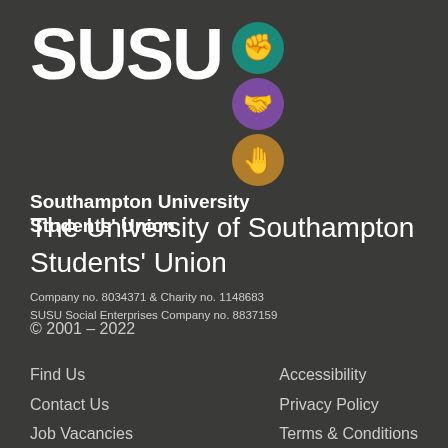[Figure (logo): SUSU logo with white bold text 'SUSU' and three circular icons (teal fist, purple handshake, gold hand) and subtitle 'Southampton University Students' Union' in bold white]
The University of Southampton Students' Union
Company no. 8034371 & Charity no. 1148683
SUSU Social Enterprises Company no. 8837159
© 2001 – 2022
Find Us
Contact Us
Job Vacancies
Advertise With Us
Accessibility
Privacy Policy
Terms & Conditions